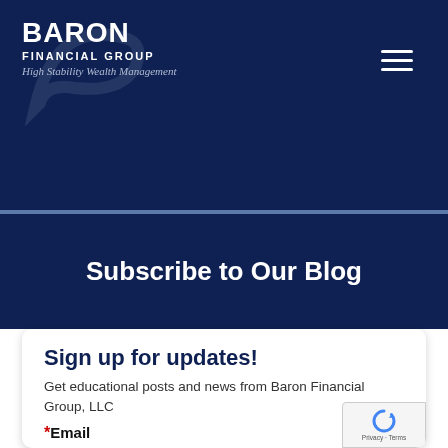[Figure (logo): Baron Financial Group logo with swoosh graphic, white text on dark navy background. Text reads BARON FINANCIAL GROUP with tagline High Stability Wealth Management]
Subscribe to Our Blog
Sign up for updates!
Get educational posts and news from Baron Financial Group, LLC
*Email